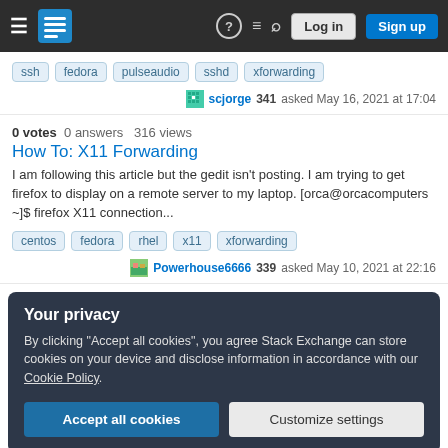Stack Exchange — Log in / Sign up
ssh  fedora  pulseaudio  sshd  xforwarding
scjorge 341 asked May 16, 2021 at 17:04
0 votes  0 answers  316 views
How To: X11 Forwarding
I am following this article but the gedit isn't posting. I am trying to get firefox to display on a remote server to my laptop. [orca@orcacomputers ~]$ firefox X11 connection...
centos  fedora  rhel  x11  xforwarding
Powerhouse6666 339 asked May 10, 2021 at 22:16
Your privacy
By clicking "Accept all cookies", you agree Stack Exchange can store cookies on your device and disclose information in accordance with our Cookie Policy.
Accept all cookies  Customize settings